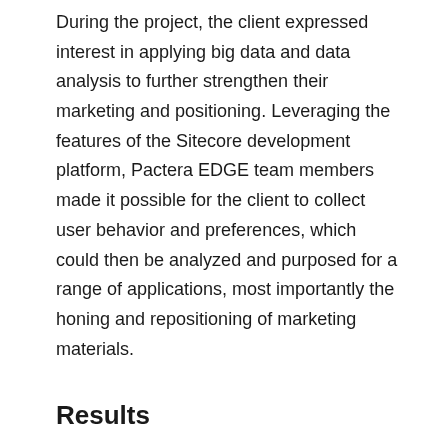During the project, the client expressed interest in applying big data and data analysis to further strengthen their marketing and positioning. Leveraging the features of the Sitecore development platform, Pactera EDGE team members made it possible for the client to collect user behavior and preferences, which could then be analyzed and purposed for a range of applications, most importantly the honing and repositioning of marketing materials.
Results
As a long-established authority in domain sales and registry, it was imperative that the client had an engaging website that worked all over the world. With